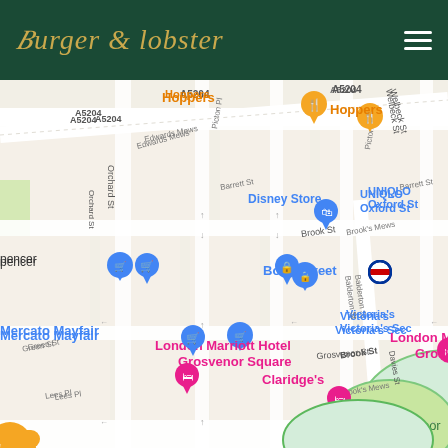Burger & Lobster — Navigation header with logo and hamburger menu
[Figure (map): Google Maps screenshot showing area around Bond Street, London W1. Visible locations include: Hoppers restaurant (orange pin), Disney Store (blue pin), UNIQLO Oxford St, Bond Street tube station (red/white underground symbol), Victoria's Secret, Mercato Mayfair (blue pin), London Marriott Hotel Grosvenor Square (pink pin), Claridge's (pink pin), Grosvenor Square (green outlined area). Streets visible include A5204, Welbeck St, Orchard St, Edwards Mews, Picton Pl, Barrett St, Balderton St, Brook St, Davies St, Brook's Mews, Grosvenor St, Green St, Lees Pl.]